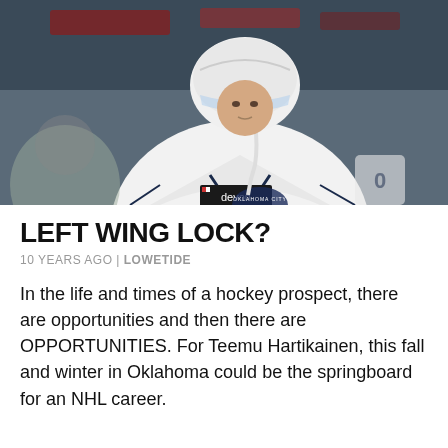[Figure (photo): Hockey player wearing a white Oklahoma City jersey with 'devon' sponsor logo and a helmet with visor, looking upward on the ice.]
LEFT WING LOCK?
10 YEARS AGO | LOWETIDE
In the life and times of a hockey prospect, there are opportunities and then there are OPPORTUNITIES. For Teemu Hartikainen, this fall and winter in Oklahoma could be the springboard for an NHL career.